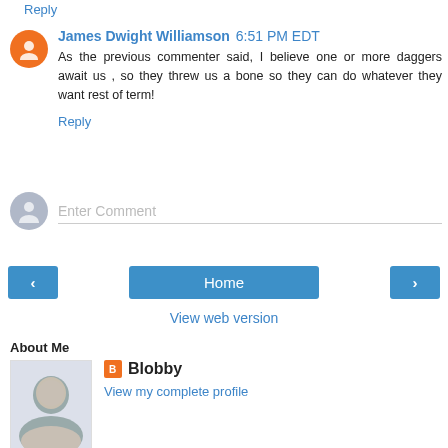Reply
James Dwight Williamson 6:51 PM EDT
As the previous commenter said, I believe one or more daggers await us , so they threw us a bone so they can do whatever they want rest of term!
Reply
Enter Comment
[Figure (other): Navigation buttons: left arrow, Home, right arrow]
View web version
About Me
Blobby
View my complete profile